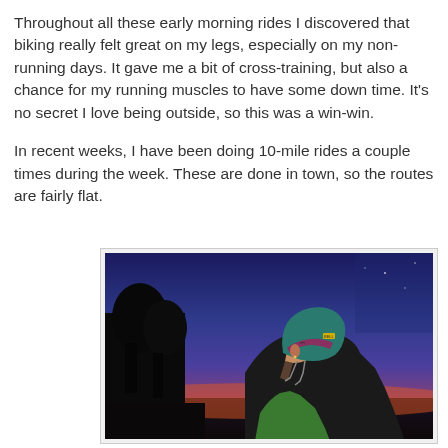Throughout all these early morning rides I discovered that biking really felt great on my legs, especially on my non-running days. It gave me a bit of cross-training, but also a chance for my running muscles to have some down time. It's no secret I love being outside, so this was a win-win.

In recent weeks, I have been doing 10-mile rides a couple times during the week. These are done in town, so the routes are fairly flat.
[Figure (photo): A person wearing a teal and dark cycling helmet viewed in profile against a dramatic twilight sky with deep blue upper sky, orange-red horizon glow, and dark silhouetted trees on the left side.]